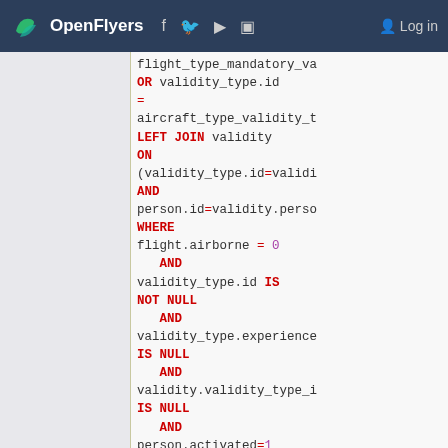OpenFlyers | Log in
flight_type_mandatory_va
OR validity_type.id
=
aircraft_type_validity_t
LEFT JOIN validity
ON
(validity_type.id=validi
AND
person.id=validity.perso
WHERE
flight.airborne = 0
    AND
validity_type.id IS
NOT NULL
    AND
validity_type.experience
IS NULL
    AND
validity.validity_type_i
IS NULL
    AND
person.activated=1
GROUP BY person.id,
validity_type.id
ORDER BY pilot,
validity_type.name